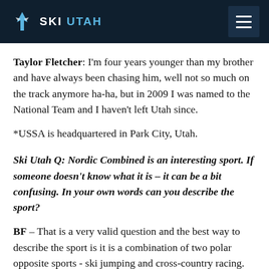SKI UTAH
Taylor Fletcher: I'm four years younger than my brother and have always been chasing him, well not so much on the track anymore ha-ha, but in 2009 I was named to the National Team and I haven't left Utah since.
*USSA is headquartered in Park City, Utah.
Ski Utah Q: Nordic Combined is an interesting sport. If someone doesn't know what it is – it can be a bit confusing. In your own words can you describe the sport?
BF – That is a very valid question and the best way to describe the sport is it is a combination of two polar opposite sports - ski jumping and cross-country racing. The